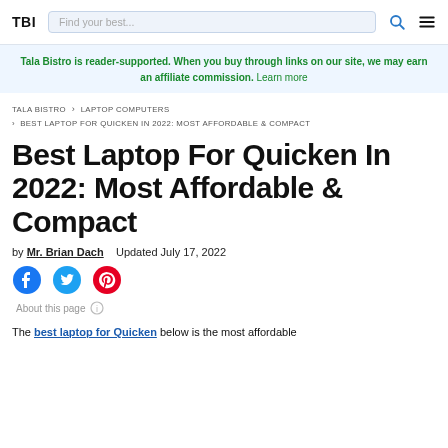TBI | Find your best...
Tala Bistro is reader-supported. When you buy through links on our site, we may earn an affiliate commission. Learn more
TALA BISTRO › LAPTOP COMPUTERS › BEST LAPTOP FOR QUICKEN IN 2022: MOST AFFORDABLE & COMPACT
Best Laptop For Quicken In 2022: Most Affordable & Compact
by Mr. Brian Dach   Updated July 17, 2022
[Figure (infographic): Social sharing icons: Facebook (blue), Twitter (blue), Pinterest (pink/red)]
About this page ⓘ
The best laptop for Quicken below is the most affordable